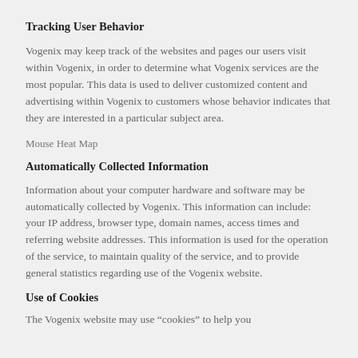Tracking User Behavior
Vogenix may keep track of the websites and pages our users visit within Vogenix, in order to determine what Vogenix services are the most popular. This data is used to deliver customized content and advertising within Vogenix to customers whose behavior indicates that they are interested in a particular subject area.
Mouse Heat Map
Automatically Collected Information
Information about your computer hardware and software may be automatically collected by Vogenix. This information can include: your IP address, browser type, domain names, access times and referring website addresses. This information is used for the operation of the service, to maintain quality of the service, and to provide general statistics regarding use of the Vogenix website.
Use of Cookies
The Vogenix website may use “cookies” to help you